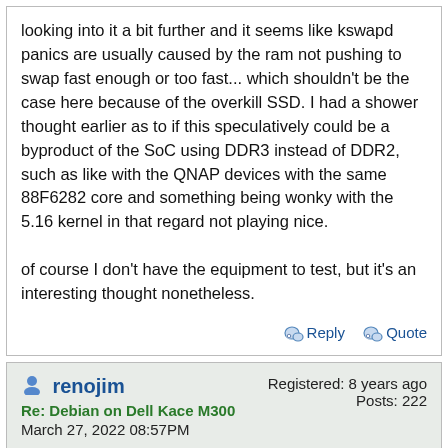looking into it a bit further and it seems like kswapd panics are usually caused by the ram not pushing to swap fast enough or too fast... which shouldn't be the case here because of the overkill SSD. I had a shower thought earlier as to if this speculatively could be a byproduct of the SoC using DDR3 instead of DDR2, such as like with the QNAP devices with the same 88F6282 core and something being wonky with the 5.16 kernel in that regard not playing nice.

of course I don't have the equipment to test, but it's an interesting thought nonetheless.
Reply   Quote
renojim
Re: Debian on Dell Kace M300
March 27, 2022 08:57PM
Registered: 8 years ago
Posts: 222
As another data point, I've been running 5.16.5 (and Bullseye) for a while now and I'm pushing my M300 pretty hard with a media server, a FTP server for my motion activated cameras, Windows shares, and a